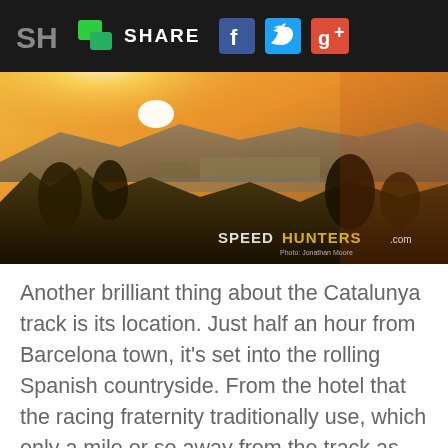SH | SHARE [Facebook] [Twitter] [Google+]
[Figure (photo): Aerial sunset view of Circuit de Catalunya racing track near Barcelona, Spain, surrounded by rolling countryside and trees. Speedhunters.com watermark visible in bottom right corner. Photo credit: Jonathan Moore.]
Another brilliant thing about the Catalunya track is its location. Just half an hour from Barcelona town, it's set into the rolling Spanish countryside. From the hotel that the racing fraternity traditionally use, which only a mile or so away from the track as the crow flies, you can see the main pit-lane building and arcing